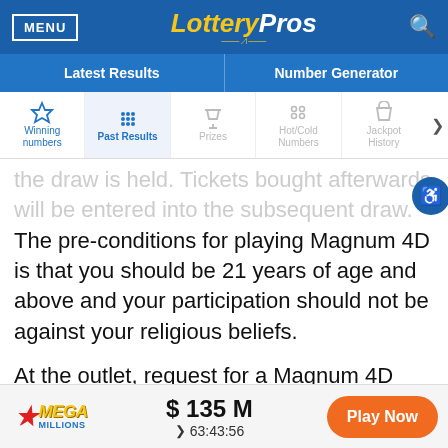MENU | LotteryPros | search
Latest Results | Number Generator
Winning numbers | Past Results | Prizes | Hot/Cold Numbers | Jackpot History
the draw is held. Tickets bought afterwards will be entered into the subsequent draw. The pre-conditions for playing Magnum 4D is that you should be 21 years of age and above and your participation should not be against your religious beliefs.
At the outlet, request for a Magnum 4D playslip, which allows you to choose your winning
MEGA MILLIONS | $ 135 M | 63:43:56 | Play Now